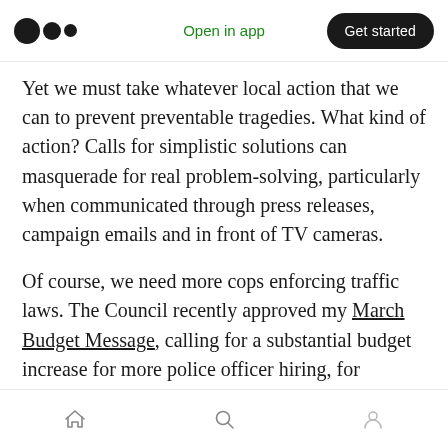Medium app header — logo, Open in app, Get started
Yet we must take whatever local action that we can to prevent preventable tragedies. What kind of action? Calls for simplistic solutions can masquerade for real problem-solving, particularly when communicated through press releases, campaign emails and in front of TV cameras.
Of course, we need more cops enforcing traffic laws. The Council recently approved my March Budget Message, calling for a substantial budget increase for more police officer hiring, for everything from walking beats to traffic
Bottom navigation: Home, Search, Profile